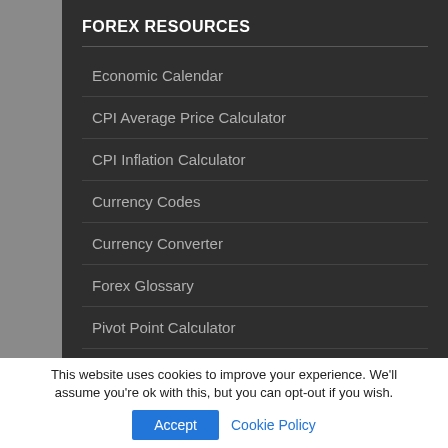FOREX RESOURCES
Economic Calendar
CPI Average Price Calculator
CPI Inflation Calculator
Currency Codes
Currency Converter
Forex Glossary
Pivot Point Calculator
Webmaster Tools
Privacy Policy and Terms of Use
This website uses cookies to improve your experience. We'll assume you're ok with this, but you can opt-out if you wish.
Accept   Cookie Policy